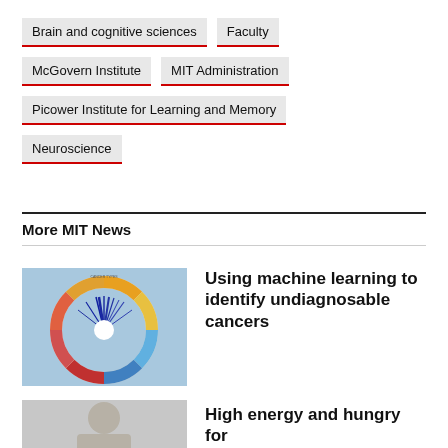Brain and cognitive sciences
Faculty
McGovern Institute
MIT Administration
Picower Institute for Learning and Memory
Neuroscience
More MIT News
[Figure (photo): Circular radial chart/diagram with colorful spokes on blue background]
Using machine learning to identify undiagnosable cancers
[Figure (photo): Person photo, partially visible, gray tones]
High energy and hungry for